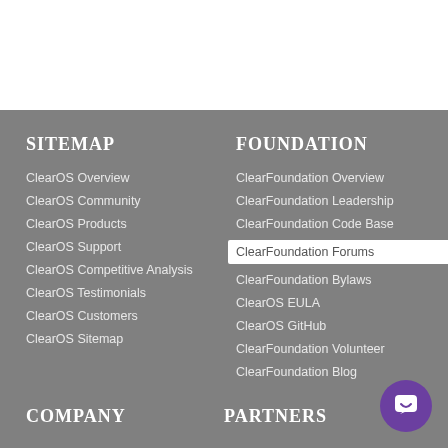SITEMAP
ClearOS Overview
ClearOS Community
ClearOS Products
ClearOS Support
ClearOS Competitive Analysis
ClearOS Testimonials
ClearOS Customers
ClearOS Sitemap
FOUNDATION
ClearFoundation Overview
ClearFoundation Leadership
ClearFoundation Code Base
ClearFoundation Forums
ClearFoundation Bylaws
ClearOS EULA
ClearOS GitHub
ClearFoundation Volunteer
ClearFoundation Blog
COMPANY
PARTNERS